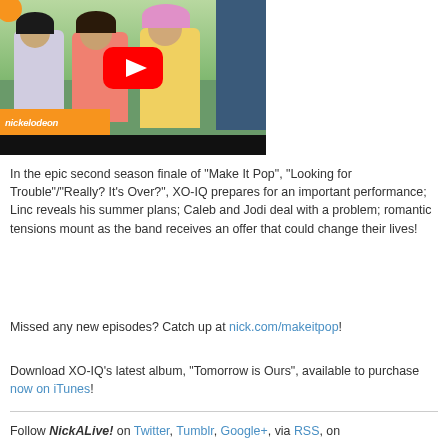[Figure (screenshot): YouTube video thumbnail showing three girls standing outside, with a large red YouTube play button in the center, Nickelodeon orange branding bar at bottom-left, and a dark bar at the very bottom. An orange circle is partially visible at top-left.]
In the epic second season finale of "Make It Pop", "Looking for Trouble"/"Really? It's Over?", XO-IQ prepares for an important performance; Linc reveals his summer plans; Caleb and Jodi deal with a problem; romantic tensions mount as the band receives an offer that could change their lives!
Missed any new episodes? Catch up at nick.com/makeitpop!
Download XO-IQ's latest album, "Tomorrow is Ours", available to purchase now on iTunes!
Follow NickALive! on Twitter, Tumblr, Google+, via RSS, on